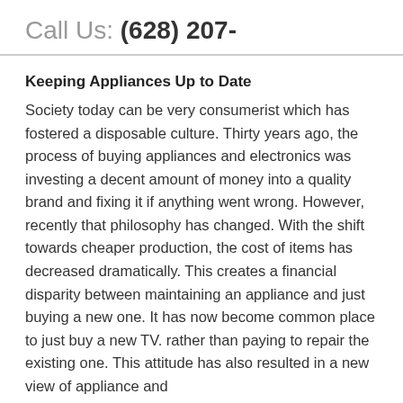Call Us: (628) 207-
Keeping Appliances Up to Date
Society today can be very consumerist which has fostered a disposable culture. Thirty years ago, the process of buying appliances and electronics was investing a decent amount of money into a quality brand and fixing it if anything went wrong. However, recently that philosophy has changed. With the shift towards cheaper production, the cost of items has decreased dramatically. This creates a financial disparity between maintaining an appliance and just buying a new one. It has now become common place to just buy a new TV. rather than paying to repair the existing one. This attitude has also resulted in a new view of appliance and